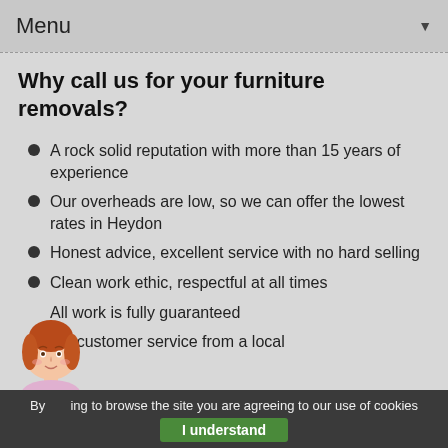Menu
Why call us for your furniture removals?
A rock solid reputation with more than 15 years of experience
Our overheads are low, so we can offer the lowest rates in Heydon
Honest advice, excellent service with no hard selling
Clean work ethic, respectful at all times
All work is fully guaranteed
Great customer service from a local
[Figure (illustration): Cartoon avatar of a woman with red hair]
By continuing to browse the site you are agreeing to our use of cookies  I understand